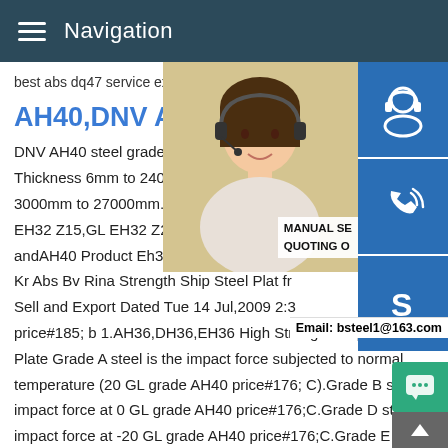Navigation
best abs dq47 service export,carbon steel
AH40,DNV AH40,NV A40,DN
DNV AH40 steel grade .Our mill could pro Thickness 6mm to 240mm,Width 1500mm 3000mm to 27000mm.the max weight is 3 EH32 Z15,GL EH32 Z25,GL EH32 Z35 UT andAH40 Product Eh32 Ah36 Dh36 Eh36 Kr Abs Bv Rina Strength Ship Steel Plat fr Sell and Export Dated Tue 14 Jul,2009 2:3 price#185; b 1.AH36,DH36,EH36 High Strength Shipbuilding Steel Plate Grade A steel is the impact force subjected to normal temperature (20 GL grade AH40 price#176; C).Grade B steel impact force at 0 GL grade AH40 price#176;C.Grade D steel impact force at -20 GL grade AH40 price#176;C.Grade E steel impact force at -40 GL grade AH40 price#176;C.High-strength
[Figure (photo): Woman with headset - customer service representative photo]
[Figure (infographic): Blue icon buttons: customer service headset, phone, Skype icons; Manual SE, Quoting O labels; Email: bsteel1@163.com]